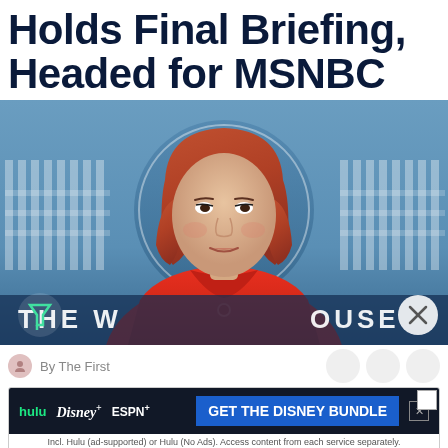Holds Final Briefing, Headed for MSNBC
[Figure (photo): Jen Psaki standing at a podium in front of the White House press briefing room background wearing a red jacket, with THE WHITE HOUSE seal visible behind her]
By The First
[Figure (infographic): Disney Bundle advertisement banner featuring Hulu, Disney+, and ESPN+ logos with call to action 'GET THE DISNEY BUNDLE'. Includes disclaimer text: Incl. Hulu (ad-supported) or Hulu (No Ads). Access content from each service separately. ©2021 Disney and its related entities]
Jen Psaki's time as White House press